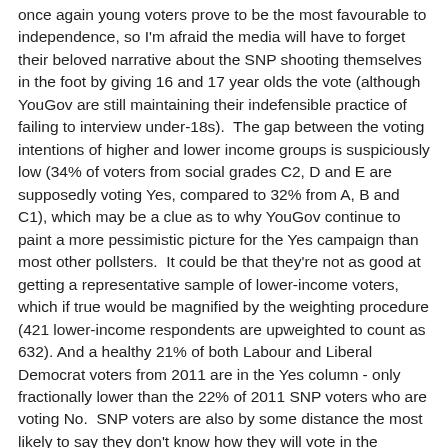once again young voters prove to be the most favourable to independence, so I'm afraid the media will have to forget their beloved narrative about the SNP shooting themselves in the foot by giving 16 and 17 year olds the vote (although YouGov are still maintaining their indefensible practice of failing to interview under-18s).  The gap between the voting intentions of higher and lower income groups is suspiciously low (34% of voters from social grades C2, D and E are supposedly voting Yes, compared to 32% from A, B and C1), which may be a clue as to why YouGov continue to paint a more pessimistic picture for the Yes campaign than most other pollsters.  It could be that they're not as good at getting a representative sample of lower-income voters, which if true would be magnified by the weighting procedure (421 lower-income respondents are upweighted to count as 632). And a healthy 21% of both Labour and Liberal Democrat voters from 2011 are in the Yes column - only fractionally lower than the 22% of 2011 SNP voters who are voting No.  SNP voters are also by some distance the most likely to say they don't know how they will vote in the referendum, which constitutes a potentially sympathetic section of the electorate for the Yes campaign to target for new converts.